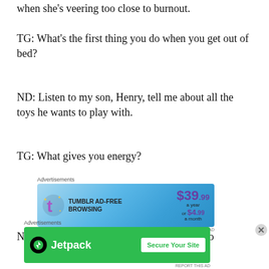when she's veering too close to burnout.
TG: What's the first thing you do when you get out of bed?
ND: Listen to my son, Henry, tell me about all the toys he wants to play with.
TG: What gives you energy?
[Figure (screenshot): Tumblr Ad-Free Browsing advertisement banner: $39.99 a year or $4.99 a month]
ND: My team at Hill House Home. We get so
[Figure (screenshot): Jetpack advertisement banner: Secure Your Site]